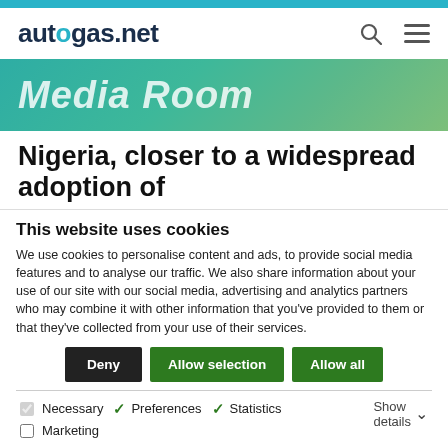autogas.net
[Figure (screenshot): Media Room banner with green/teal gradient background and italic white text]
Nigeria, closer to a widespread adoption of
This website uses cookies
We use cookies to personalise content and ads, to provide social media features and to analyse our traffic. We also share information about your use of our site with our social media, advertising and analytics partners who may combine it with other information that you've provided to them or that they've collected from your use of their services.
Deny | Allow selection | Allow all
Necessary  Preferences  Statistics  Marketing  Show details